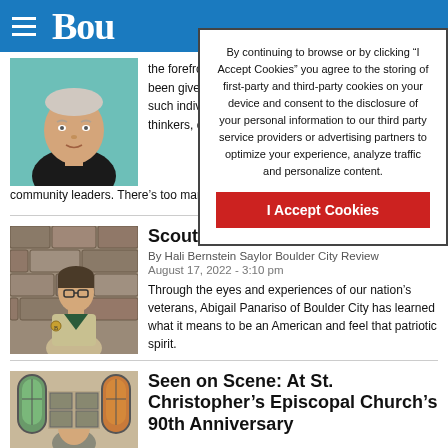Bou[lder City Review]
By continuing to browse or by clicking “I Accept Cookies” you agree to the storing of first-party and third-party cookies on your device and consent to the disclosure of your personal information to our third party service providers or advertising partners to optimize your experience, analyze traffic and personalize content.
I Accept Cookies
[Figure (photo): Headshot of a middle-aged man against a teal/green background]
the forefront of mil... been given credit fo... such individuals. An... thinkers, creatives, community leaders. There’s too many and too much to mention here.
[Figure (photo): Young girl in scout uniform standing in front of a stone brick wall]
Scout honored by VFW
By Hali Bernstein Saylor Boulder City Review
August 17, 2022 - 3:10 pm
Through the eyes and experiences of our nation’s veterans, Abigail Panariso of Boulder City has learned what it means to be an American and feel that patriotic spirit.
[Figure (photo): Person inside what appears to be a church with stained glass windows]
Seen on Scene: At St. Christopher’s Episcopal Church’s 90th Anniversary